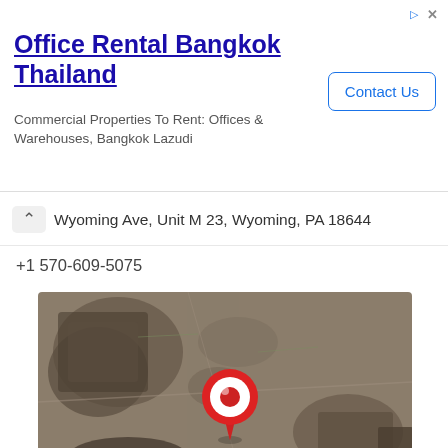[Figure (infographic): Advertisement banner for Office Rental Bangkok Thailand showing title, description, and Contact Us button]
Office Rental Bangkok Thailand
Commercial Properties To Rent: Offices & Warehouses, Bangkok Lazudi
Wyoming Ave, Unit M 23, Wyoming, PA 18644
+1 570-609-5075
[Figure (map): Satellite map view showing aerial terrain with a red map pin marker indicating the location]
Open now
Arr electrical, LLC